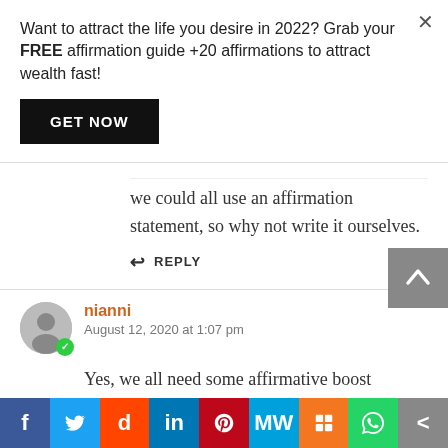Want to attract the life you desire in 2022? Grab your FREE affirmation guide +20 affirmations to attract wealth fast!
GET NOW
we could all use an affirmation statement, so why not write it ourselves.
REPLY
nianni
August 12, 2020 at 1:07 pm
Yes, we all need some affirmative boost
REPLY